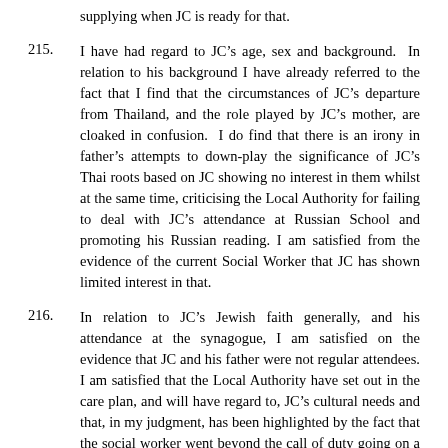supplying when JC is ready for that.
215. I have had regard to JC’s age, sex and background. In relation to his background I have already referred to the fact that I find that the circumstances of JC’s departure from Thailand, and the role played by JC’s mother, are cloaked in confusion. I do find that there is an irony in father’s attempts to down-play the significance of JC’s Thai roots based on JC showing no interest in them whilst at the same time, criticising the Local Authority for failing to deal with JC’s attendance at Russian School and promoting his Russian reading. I am satisfied from the evidence of the current Social Worker that JC has shown limited interest in that.
216. In relation to JC’s Jewish faith generally, and his attendance at the synagogue, I am satisfied on the evidence that JC and his father were not regular attendees. I am satisfied that the Local Authority have set out in the care plan, and will have regard to, JC’s cultural needs and that, in my judgment, has been highlighted by the fact that the social worker went beyond the call of duty going on a Sunday to take him to the synagogue. I find that the Local Authority is conscious of all of the aspects of JC’s rich cultural heritage and I have confidence that each part will